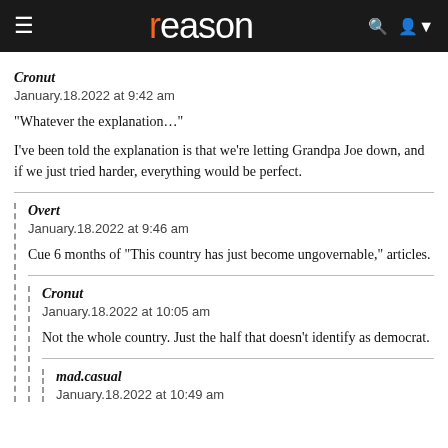reason
Cronut
January.18.2022 at 9:42 am
"Whatever the explanation..."

I've been told the explanation is that we're letting Grandpa Joe down, and if we just tried harder, everything would be perfect.
Overt
January.18.2022 at 9:46 am
Cue 6 months of "This country has just become ungovernable," articles.
Cronut
January.18.2022 at 10:05 am
Not the whole country. Just the half that doesn't identify as democrat.
mad.casual
January.18.2022 at 10:49 am